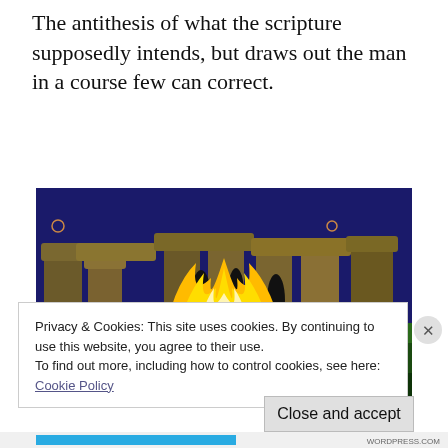The antithesis of what the scripture supposedly intends, but draws out the man in a course few can correct.
[Figure (illustration): Colorful painting of Stonehenge-like megalithic stones with a large bonfire in the foreground and silhouetted human figures dancing or standing around the fire. The scene has dark blue sky, green ground, and vivid orange and yellow flames dominating the center.]
Privacy & Cookies: This site uses cookies. By continuing to use this website, you agree to their use.
To find out more, including how to control cookies, see here:
Cookie Policy
Close and accept